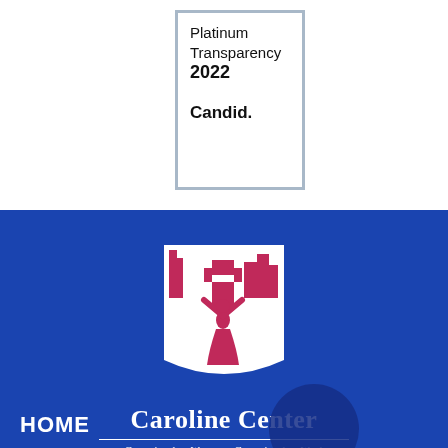[Figure (logo): Candid Platinum Transparency 2022 badge — white rectangle with light blue-gray border, text reading 'Platinum Transparency 2022' and 'Candid.']
[Figure (logo): Caroline Center logo — white shield shape with pink/magenta stylized figure of a woman with arms raised and cityscape silhouette in background, on blue background. Below: 'Caroline Center' in white serif bold text, horizontal rule, italic tagline 'Committed to Women • Committed to Work']
HOME